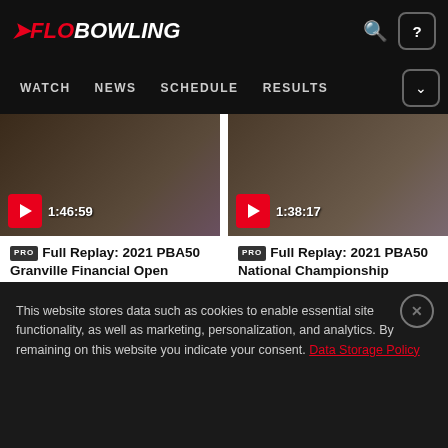FloBowling - WATCH NEWS SCHEDULE RESULTS
[Figure (screenshot): Video thumbnail for Full Replay: 2021 PBA50 Granville Financial Open Stepladder Finals, duration 1:46:59]
PRO Full Replay: 2021 PBA50 Granville Financial Open Stepladder Finals
May 6, 2021
[Figure (screenshot): Video thumbnail for Full Replay: 2021 PBA50 National Championship Stepladder Finals, duration 1:38:17]
PRO Full Replay: 2021 PBA50 National Championship Stepladde...
Apr 30, 2021
This website stores data such as cookies to enable essential site functionality, as well as marketing, personalization, and analytics. By remaining on this website you indicate your consent. Data Storage Policy